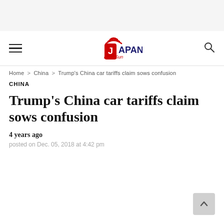Japan Daily Sun — navigation header with hamburger menu and search icon
Home > China > Trump's China car tariffs claim sows confusion
CHINA
Trump's China car tariffs claim sows confusion
4 years ago
posted on Dec. 05, 2018 at 4:42 pm